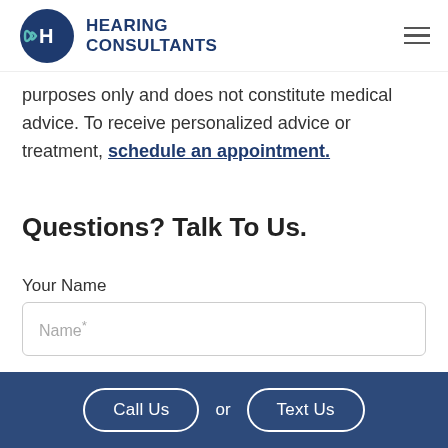Hearing Consultants
purposes only and does not constitute medical advice. To receive personalized advice or treatment, schedule an appointment.
Questions? Talk To Us.
Your Name
Name*
Your Email
Call Us or Text Us